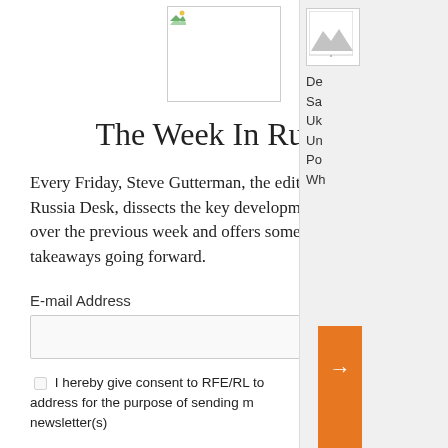[Figure (logo): Newsletter logo image placeholder at top center]
The Week In Russia
Every Friday, Steve Gutterman, the editor of RFE/RL's Russia Desk, dissects the key developments in Russia over the previous week and offers some of the takeaways going forward.
E-mail Address
[Figure (other): Email input field with orange submit arrow button]
I hereby give consent to RFE/RL to [use my email] address for the purpose of sending me newsletter(s)